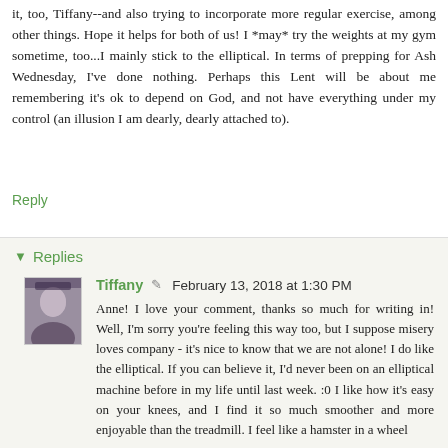it, too, Tiffany--and also trying to incorporate more regular exercise, among other things. Hope it helps for both of us! I *may* try the weights at my gym sometime, too...I mainly stick to the elliptical. In terms of prepping for Ash Wednesday, I've done nothing. Perhaps this Lent will be about me remembering it's ok to depend on God, and not have everything under my control (an illusion I am dearly, dearly attached to).
Reply
Replies
Tiffany  February 13, 2018 at 1:30 PM
Anne! I love your comment, thanks so much for writing in! Well, I'm sorry you're feeling this way too, but I suppose misery loves company - it's nice to know that we are not alone! I do like the elliptical. If you can believe it, I'd never been on an elliptical machine before in my life until last week. :0 I like how it's easy on your knees, and I find it so much smoother and more enjoyable than the treadmill. I feel like a hamster in a wheel